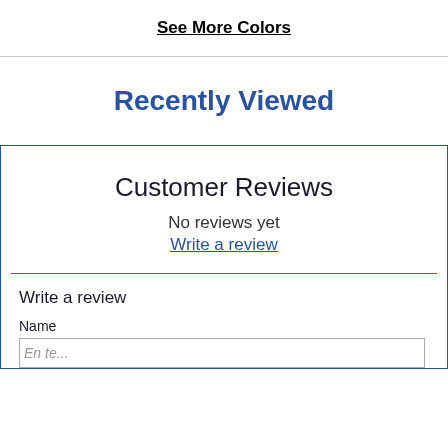See More Colors
Recently Viewed
Customer Reviews
No reviews yet
Write a review
Write a review
Name